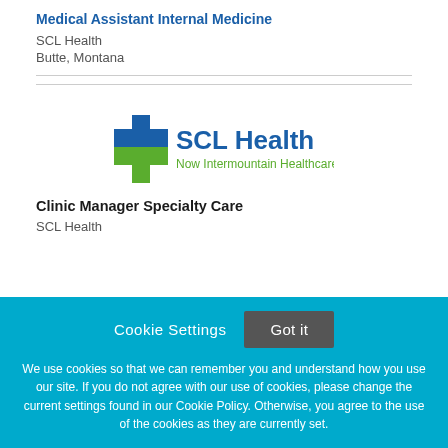Medical Assistant Internal Medicine
SCL Health
Butte, Montana
[Figure (logo): SCL Health - Now Intermountain Healthcare logo with blue and green cross symbol]
Clinic Manager Specialty Care
SCL Health
Cookie Settings  Got it
We use cookies so that we can remember you and understand how you use our site. If you do not agree with our use of cookies, please change the current settings found in our Cookie Policy. Otherwise, you agree to the use of the cookies as they are currently set.